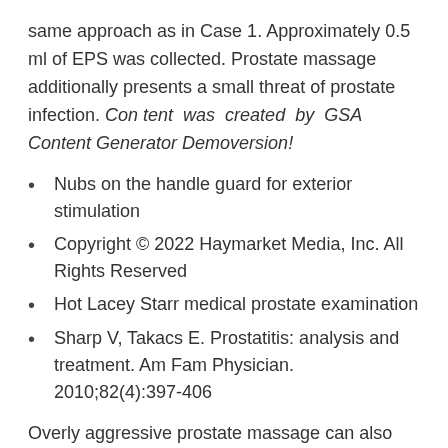same approach as in Case 1. Approximately 0.5 ml of EPS was collected. Prostate massage additionally presents a small threat of prostate infection. Content was created by GSA Content Generator Demoversion!
Nubs on the handle guard for exterior stimulation
Copyright © 2022 Haymarket Media, Inc. All Rights Reserved
Hot Lacey Starr medical prostate examination
Sharp V, Takacs E. Prostatitis: analysis and treatment. Am Fam Physician. 2010;82(4):397-406
Overly aggressive prostate massage can also